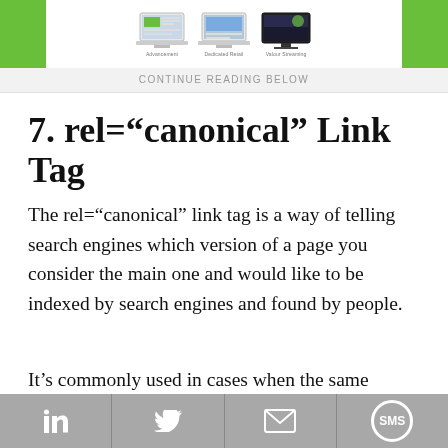[Figure (screenshot): Top banner with green blocks on left and right sides, three laptop/screen images in the center area]
CONTINUE READING BELOW
7. rel="canonical" Link Tag
The rel="canonical" link tag is a way of telling search engines which version of a page you consider the main one and would like to be indexed by search engines and found by people.
It's commonly used in cases when the same
[Figure (infographic): Share bar with LinkedIn, Twitter, Email, and SMS buttons]